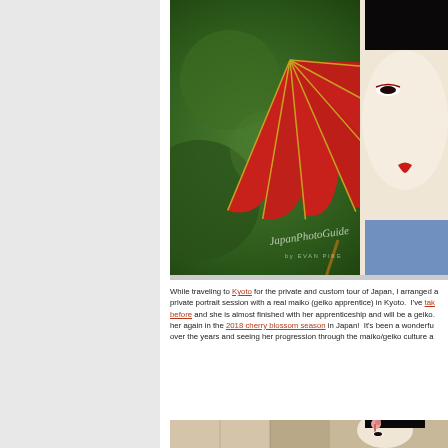[Figure (photo): Close-up portrait of a maiko (geiko apprentice) holding a large red Japanese umbrella (wagasa) with golden spokes, wearing a blue kimono and traditional white makeup with red lips. A watermark reads 'JapanPhotoGuide by EVAN PIKE'. Background is blurred green foliage.]
While traveling to Kyoto for the private and custom tour of Japan, I arranged a private portrait session with a real maiko (geiko apprentice) in Kyoto. I've taken her before and she is almost finished with her apprenticeship and will be a geiko. I met her again in the 2018 cherry blossom season in Japan! It's been a wonderful journey over the years and seeing her progression through the maiko/geiko culture a
[Figure (photo): Partial view of a maiko in traditional dress and hair ornaments, photographed indoors.]